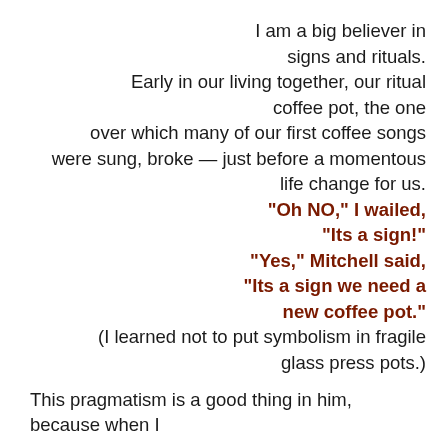I am a big believer in signs and rituals. Early in our living together, our ritual coffee pot, the one over which many of our first coffee songs were sung, broke — just before a momentous life change for us. "Oh NO," I wailed, "Its a sign!" "Yes," Mitchell said, "Its a sign we need a new coffee pot." (I learned not to put symbolism in fragile glass press pots.)
This pragmatism is a good thing in him, because when I